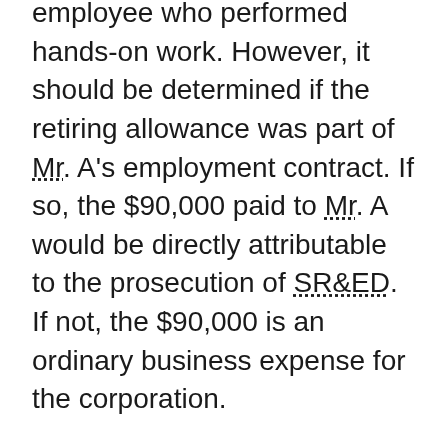employee who performed hands-on work. However, it should be determined if the retiring allowance was part of Mr. A's employment contract. If so, the $90,000 paid to Mr. A would be directly attributable to the prosecution of SR&ED. If not, the $90,000 is an ordinary business expense for the corporation.
Example 2
Mrs. Z is an engineer who started working for B Ltd. on January 1, 2000. As part of her employment package, she negotiated a retiring allowance of $20,000 per year of service. On June 30, 2010, Mrs. Z was laid off